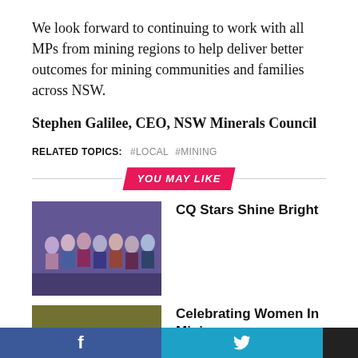We look forward to continuing to work with all MPs from mining regions to help deliver better outcomes for mining communities and families across NSW.
Stephen Galilee, CEO, NSW Minerals Council
RELATED TOPICS:  #LOCAL  #MINING
YOU MAY LIKE
[Figure (photo): Group of award recipients posing formally, purple/blue event backdrop]
CQ Stars Shine Bright
[Figure (photo): Group of women in orange shirts outdoors]
Celebrating Women In Mining
Facebook | Twitter